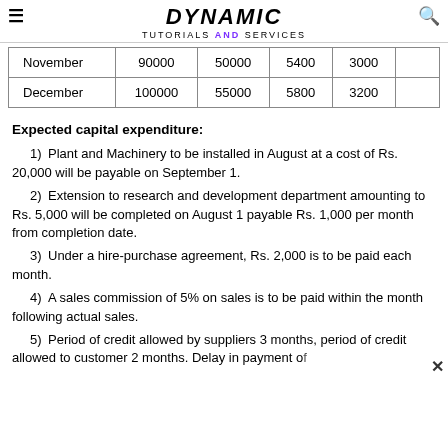DYNAMIC TUTORIALS AND SERVICES
| November | 90000 | 50000 | 5400 | 3000 |  |
| December | 100000 | 55000 | 5800 | 3200 |  |
Expected capital expenditure:
1)Plant and Machinery to be installed in August at a cost of Rs. 20,000 will be payable on September 1.
2)Extension to research and development department amounting to Rs. 5,000 will be completed on August 1 payable Rs. 1,000 per month from completion date.
3)Under a hire-purchase agreement, Rs. 2,000 is to be paid each month.
4)A sales commission of 5% on sales is to be paid within the month following actual sales.
5)Period of credit allowed by suppliers 3 months, period of credit allowed to customer 2 months. Delay in payment of